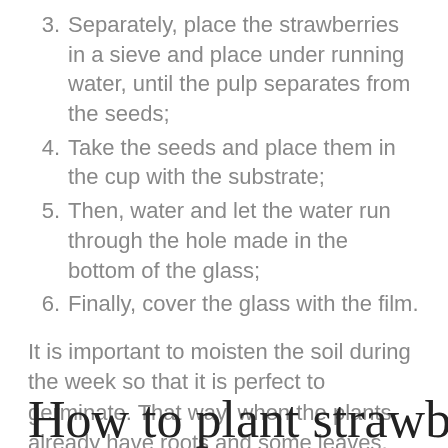3. Separately, place the strawberries in a sieve and place under running water, until the pulp separates from the seeds;
4. Take the seeds and place them in the cup with the substrate;
5. Then, water and let the water run through the hole made in the bottom of the glass;
6. Finally, cover the glass with the film.
It is important to moisten the soil during the week so that it is perfect to germinate. That way, when the plants already have roots and some leaves, you can transfer them to a more suitable place for planting.
How to plant strawberry in